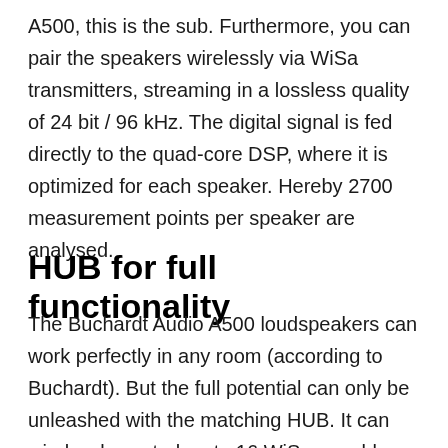A500, this is the sub. Furthermore, you can pair the speakers wirelessly via WiSa transmitters, streaming in a lossless quality of 24 bit / 96 kHz. The digital signal is fed directly to the quad-core DSP, where it is optimized for each speaker. Hereby 2700 measurement points per speaker are analysed.
HUB for full functionality
The Buchardt Audio A500 loudspeakers can work perfectly in any room (according to Buchardt). But the full potential can only be unleashed with the matching HUB. It can wirelessly control up to 16 WiSa-capable speakers. You will also find optical and analog connections for a CD player,